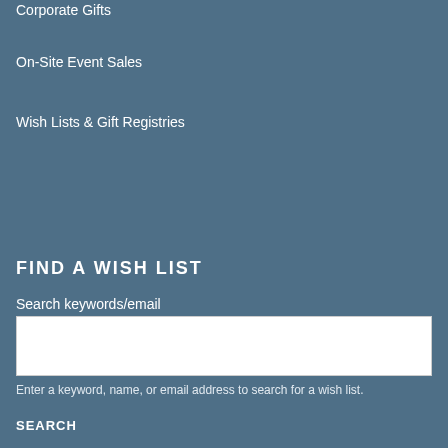Corporate Gifts
On-Site Event Sales
Wish Lists & Gift Registries
FIND A WISH LIST
Search keywords/email
Enter a keyword, name, or email address to search for a wish list.
SEARCH